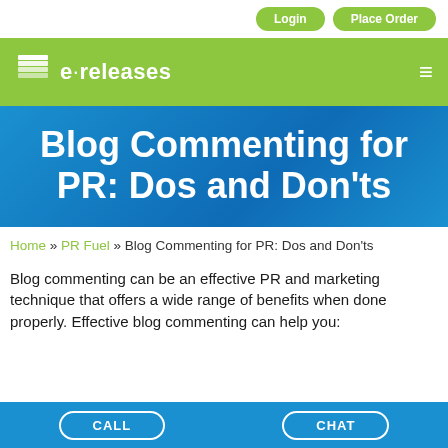Login | Place Order
[Figure (logo): e·releases logo with stacked pages icon on green background header bar]
Blog Commenting for PR: Dos and Don'ts
Home » PR Fuel » Blog Commenting for PR: Dos and Don'ts
Blog commenting can be an effective PR and marketing technique that offers a wide range of benefits when done properly. Effective blog commenting can help you:
CALL | CHAT